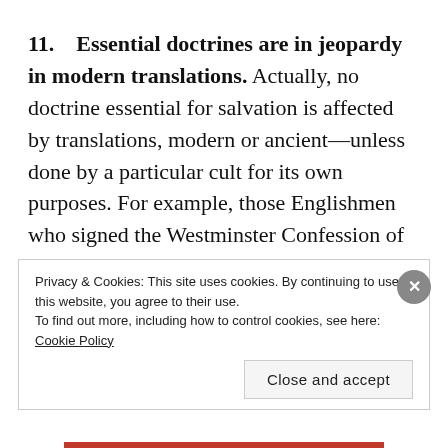11. Essential doctrines are in jeopardy in modern translations. Actually, no doctrine essential for salvation is affected by translations, modern or ancient—unless done by a particular cult for its own purposes. For example, those Englishmen who signed the Westminster Confession of Faith in the seventeenth century were using the KJV, yet it is still a normative doctrinal statement that millions of Protestants sign
Privacy & Cookies: This site uses cookies. By continuing to use this website, you agree to their use. To find out more, including how to control cookies, see here: Cookie Policy